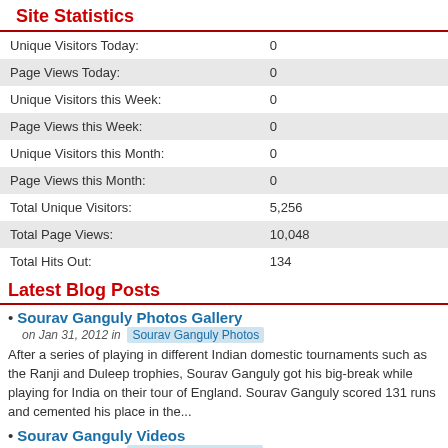Site Statistics
| Metric | Value |
| --- | --- |
| Unique Visitors Today: | 0 |
| Page Views Today: | 0 |
| Unique Visitors this Week: | 0 |
| Page Views this Week: | 0 |
| Unique Visitors this Month: | 0 |
| Page Views this Month: | 0 |
| Total Unique Visitors: | 5,256 |
| Total Page Views: | 10,048 |
| Total Hits Out: | 134 |
Latest Blog Posts
Sourav Ganguly Photos Gallery — on Jan 31, 2012 in Sourav Ganguly Photos — After a series of playing in different Indian domestic tournaments such as the Ranji and Duleep trophies, Sourav Ganguly got his big-break while playing for India on their tour of England. Sourav Ganguly scored 131 runs and cemented his place in the...
Sourav Ganguly Videos — on Jun 30, 2011 in Sourav Ganguly Videos